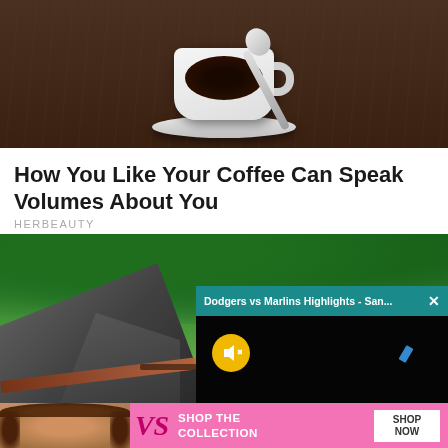[Figure (photo): Overhead photo of a black coffee in a white cup and saucer on a wooden table with a silver spoon]
How You Like Your Coffee Can Speak Volumes About You
HERBEAUTY
[Figure (photo): Aerial photo of a mountain walkway/cliffside path with lush green trees and rocky cliff faces. Overlaid with a video player popup showing 'Dodgers vs Marlins Highlights - San...' with a mute button (yellow circle) and close X. Below is a Victoria's Secret ad banner with 'SHOP THE COLLECTION' and 'SHOP NOW' button.]